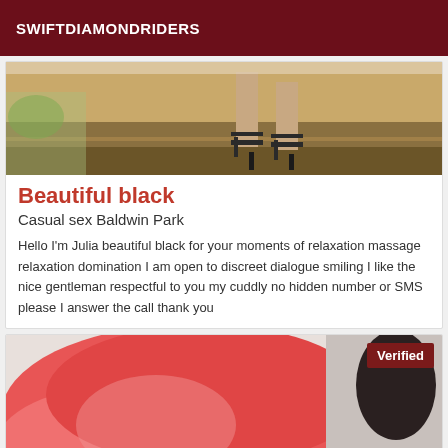SWIFTDIAMONDRIDERS
[Figure (photo): Photo showing legs and high-heeled sandals on a tiled floor with foliage in background]
Beautiful black
Casual sex Baldwin Park
Hello I'm Julia beautiful black for your moments of relaxation massage relaxation domination I am open to discreet dialogue smiling I like the nice gentleman respectful to you my cuddly no hidden number or SMS please I answer the call thank you
[Figure (photo): Photo showing a person in a pink/red dress, partially visible, with a Verified badge in the top right corner]